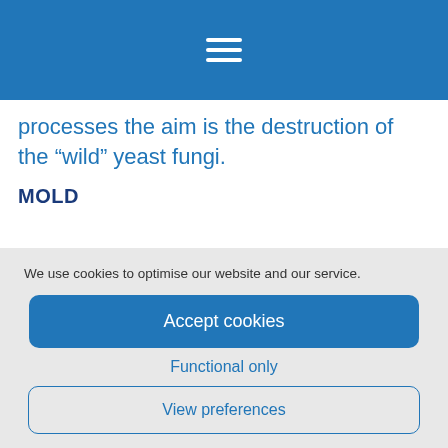Navigation menu icon (hamburger)
processes the aim is the destruction of the “wild” yeast fungi.
MOLD
We use cookies to optimise our website and our service.
Accept cookies
Functional only
View preferences